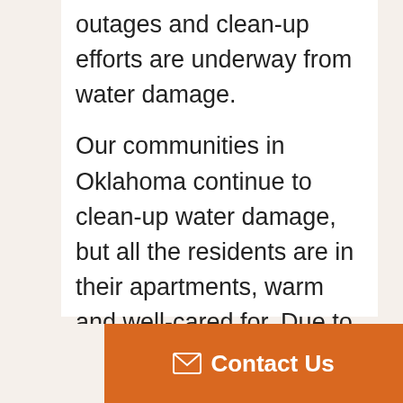outages and clean-up efforts are underway from water damage.
Our communities in Oklahoma continue to clean-up water damage, but all the residents are in their apartments, warm and well-cared for. Due to extensive repair work, we are experiencing some power fluctuations from time to time as we try to resume normal operations.
At Villagio of Broomfield north of
[Figure (other): Orange Contact Us button with envelope icon]